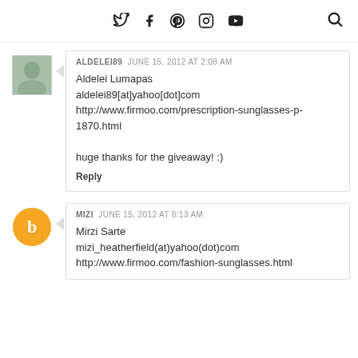Twitter Facebook Pinterest Instagram YouTube [Search]
ALDELEI89  JUNE 15, 2012 AT 2:08 AM
Aldelei Lumapas
aldelei89[at]yahoo[dot]com
http://www.firmoo.com/prescription-sunglasses-p-1870.html

huge thanks for the giveaway! :)

Reply
MIZI  JUNE 15, 2012 AT 8:13 AM
Mirzi Sarte
mizi_heatherfield(at)yahoo(dot)com
http://www.firmoo.com/fashion-sunglasses.html